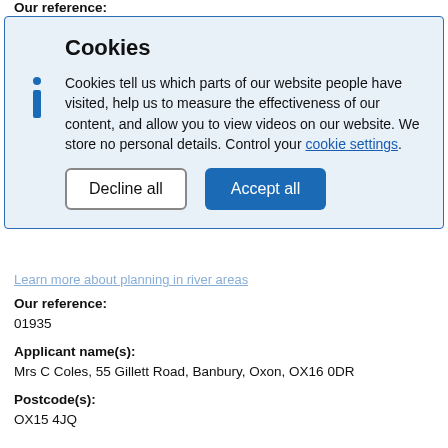Our reference:
[Figure (screenshot): Cookie consent dialog overlay with light blue background, 'Cookies' title, info icon, descriptive text about cookies, link to cookie settings, and two buttons: 'Decline all' and 'Accept all']
Learn more about planning in river areas
Our reference:
01935
Applicant name(s):
Mrs C Coles, 55 Gillett Road, Banbury, Oxon, OX16 0DR
Postcode(s):
OX15 4JQ